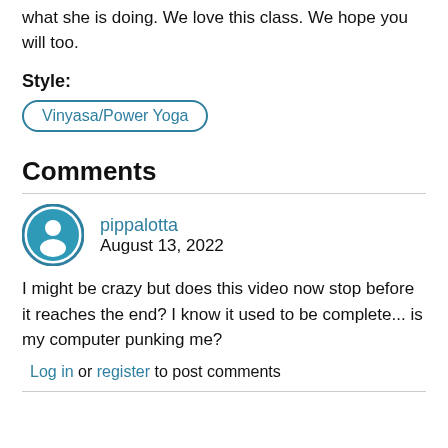what she is doing. We love this class. We hope you will too.
Style:
Vinyasa/Power Yoga
Comments
pippalotta
August 13, 2022
I might be crazy but does this video now stop before it reaches the end? I know it used to be complete... is my computer punking me?
Log in or register to post comments